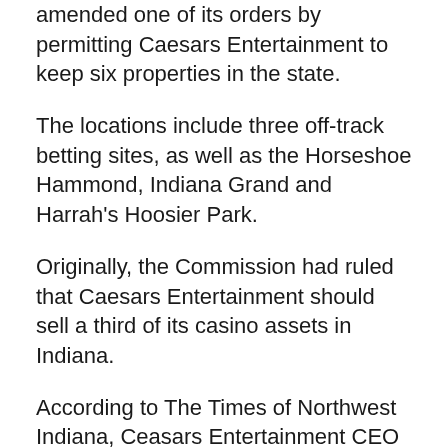amended one of its orders by permitting Caesars Entertainment to keep six properties in the state.
The locations include three off-track betting sites, as well as the Horseshoe Hammond, Indiana Grand and Harrah's Hoosier Park.
Originally, the Commission had ruled that Caesars Entertainment should sell a third of its casino assets in Indiana.
According to The Times of Northwest Indiana, Ceasars Entertainment CEO Tom Reeg and Hammond Mayor Thomas McDermott Jr sent letters to the Commission, asking them to reconsider the sale of Horsehoe.
The pair felt keeping the property at the